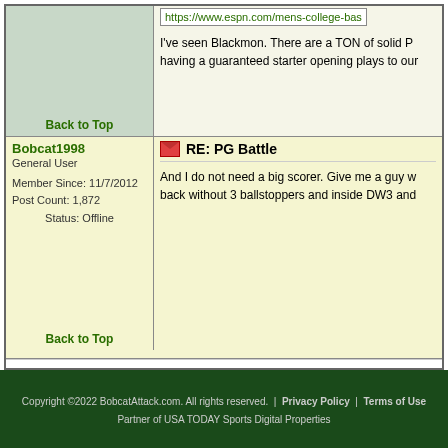Back to Top
https://www.espn.com/mens-college-bas
I've seen Blackmon. There are a TON of solid P having a guaranteed starter opening plays to our
Bobcat1998
General User
Member Since: 11/7/2012
Post Count: 1,872
Status: Offline
Back to Top
RE: PG Battle
And I do not need a big scorer. Give me a guy w back without 3 ballstoppers and inside DW3 and
Showing Replies: 26 - 27 of 27 Posts
Jump to Page: < Previous 1 | 2
Copyright ©2022 BobcatAttack.com. All rights reserved. | Privacy Policy | Terms of Use
Partner of USA TODAY Sports Digital Properties